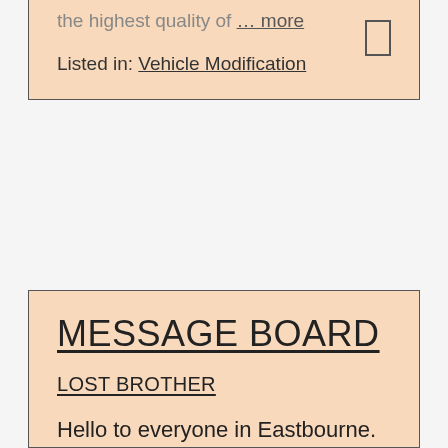the highest quality of … more
Listed in: Vehicle Modification
MESSAGE BOARD
LOST BROTHER
Hello to everyone in Eastbourne. Please does anyone know Anthony Pope who used to live in Eastbourne with his girlfriend … more
LONG TERM LET